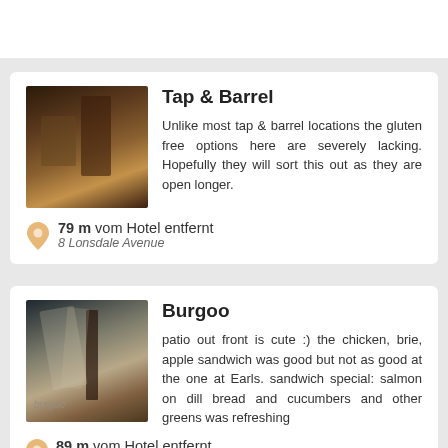[Figure (photo): Photo of Tap & Barrel interior with bar items]
Tap & Barrel
Unlike most tap & barrel locations the gluten free options here are severely lacking. Hopefully they will sort this out as they are open longer.
79 m vom Hotel entfernt
8 Lonsdale Avenue
[Figure (photo): Photo of Burgoo restaurant interior with menus and bottle]
Burgoo
patio out front is cute :) the chicken, brie, apple sandwich was good but not as good at the one at Earls. sandwich special: salmon on dill bread and cucumbers and other greens was refreshing
89 m vom Hotel entfernt